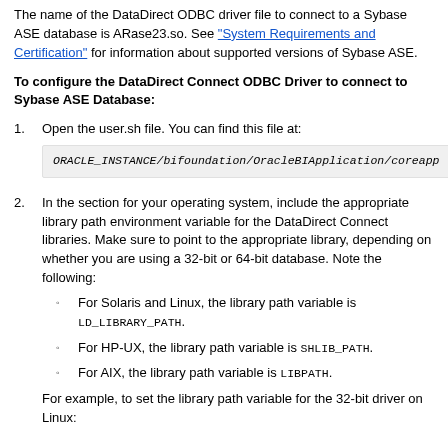The name of the DataDirect ODBC driver file to connect to a Sybase ASE database is ARase23.so. See "System Requirements and Certification" for information about supported versions of Sybase ASE.
To configure the DataDirect Connect ODBC Driver to connect to Sybase ASE Database:
1. Open the user.sh file. You can find this file at:
ORACLE_INSTANCE/bifoundation/OracleBIApplication/coreapp
2. In the section for your operating system, include the appropriate library path environment variable for the DataDirect Connect libraries. Make sure to point to the appropriate library, depending on whether you are using a 32-bit or 64-bit database. Note the following:
For Solaris and Linux, the library path variable is LD_LIBRARY_PATH.
For HP-UX, the library path variable is SHLIB_PATH.
For AIX, the library path variable is LIBPATH.
For example, to set the library path variable for the 32-bit driver on Linux: